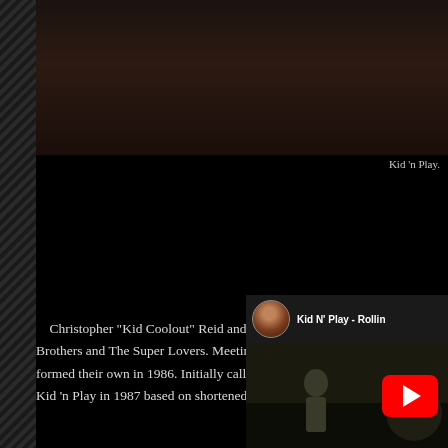[Figure (photo): Dark photograph showing a figure, appears to be a person in dim lighting with hand visible]
Kid ‘n Play.
Christopher “Kid Coolout” Reid and Christopher “Playboy” Martin… Brothers and The Super Lovers. Meeting during a competition, the two formed their own in 1986. Initially called The Fresh Force Crew, they had Kid ‘n Play in 1987 based on shortened versions of their respective nickna…
[Figure (screenshot): YouTube video thumbnail for Kid N' Play - Rollin, showing a circular avatar of a person with sunglasses, video title text, and a performer on stage with a YouTube play button overlay]